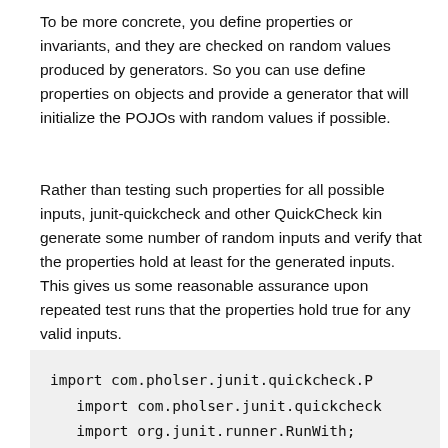To be more concrete, you define properties or invariants, and they are checked on random values produced by generators. So you can use define properties on objects and provide a generator that will initialize the POJOs with random values if possible.
Rather than testing such properties for all possible inputs, junit-quickcheck and other QuickCheck kin generate some number of random inputs and verify that the properties hold at least for the generated inputs. This gives us some reasonable assurance upon repeated test runs that the properties hold true for any valid inputs.
import com.pholser.junit.quickcheck.P
import com.pholser.junit.quickcheck
import org.junit.runner.RunWith;